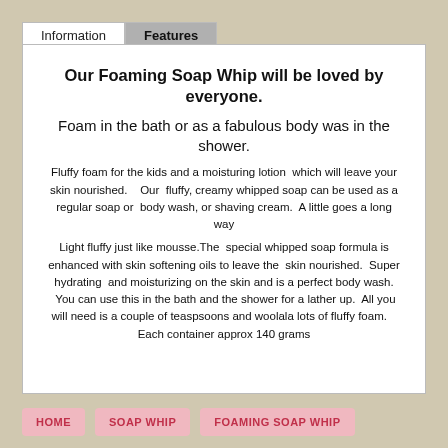Information | Features
Our Foaming Soap Whip will be loved by everyone.
Foam in the bath or as a fabulous body was in the shower.
Fluffy foam for the kids and a moisturing lotion  which will leave your skin nourished.   Our  fluffy, creamy whipped soap can be used as a regular soap or  body wash, or shaving cream.  A little goes a long way
Light fluffy just like mousse.The  special whipped soap formula is enhanced with skin softening oils to leave the  skin nourished.  Super hydrating  and moisturizing on the skin and is a perfect body wash.  You can use this in the bath and the shower for a lather up.  All you will need is a couple of teaspsoons and woolala lots of fluffy foam.   Each container approx 140 grams
HOME   SOAP WHIP   FOAMING SOAP WHIP